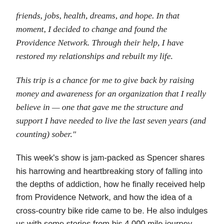friends, jobs, health, dreams, and hope. In that moment, I decided to change and found the Providence Network. Through their help, I have restored my relationships and rebuilt my life.
This trip is a chance for me to give back by raising money and awareness for an organization that I really believe in — one that gave me the structure and support I have needed to live the last seven years (and counting) sober."
This week's show is jam-packed as Spencer shares his harrowing and heartbreaking story of falling into the depths of addiction, how he finally received help from Providence Network, and how the idea of a cross-country bike ride came to be. He also indulges us with some stories from his 4,000 mile journey sharing what it did to his body, some of the most choice (and not-so-